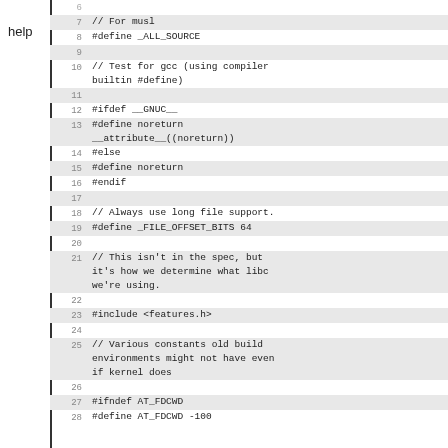help
6
7  // For musl
8  #define _ALL_SOURCE
9
10  // Test for gcc (using compiler builtin #define)
11
12  #ifdef __GNUC__
13  #define noreturn __attribute__((noreturn))
14  #else
15  #define noreturn
16  #endif
17
18  // Always use long file support.
19  #define _FILE_OFFSET_BITS 64
20
21  // This isn't in the spec, but it's how we determine what libc we're using.
22
23  #include <features.h>
24
25  // Various constants old build environments might not have even if kernel does
26
27  #ifndef AT_FDCWD
28  #define AT_FDCWD -100